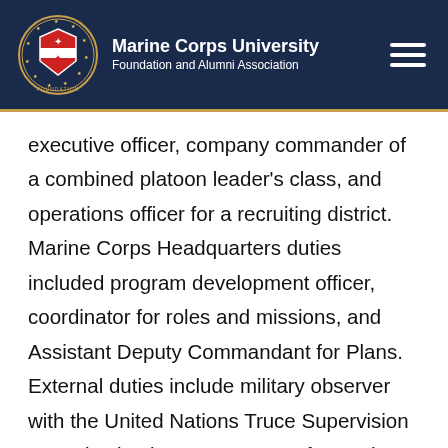Marine Corps University Foundation and Alumni Association
executive officer, company commander of a combined platoon leader's class, and operations officer for a recruiting district. Marine Corps Headquarters duties included program development officer, coordinator for roles and missions, and Assistant Deputy Commandant for Plans. External duties include military observer with the United Nations Truce Supervision Organization in Egypt, Deputy for Marine Corps Matters in the Secretary of the Navy's Office of Program Appraisal, and Executive/Military Assistant to the Director of